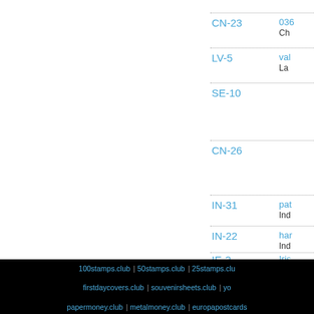CN-23
036... Ch...
LV-5
val... La...
SE-10
CN-26
IN-31
pat... Ind...
IN-22
har... Ind...
IE-2
Iris... Irel...
100stamps.club | 50stamps.club | 25stamps.club | firstdaycovers.club | souvenirsheets.club | yo... | papermoney.club | metalmoney.club | europapostcards...